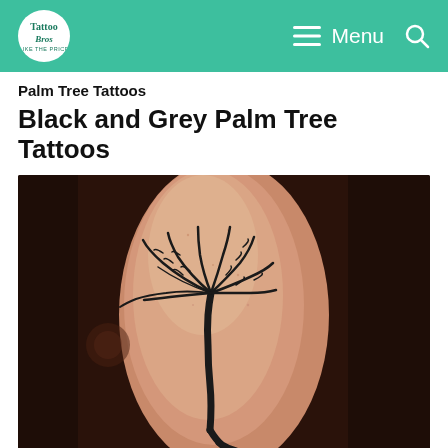Tattoo — Like The Price | Menu (navigation bar with logo, menu, and search)
Palm Tree Tattoos
Black and Grey Palm Tree Tattoos
[Figure (photo): Close-up photograph of a person's forearm/wrist showing a black and grey palm tree tattoo. The palm tree has curved fronds at the top and a gently curving trunk, rendered in fine black linework on light skin. The background is dark brown/shadowed.]